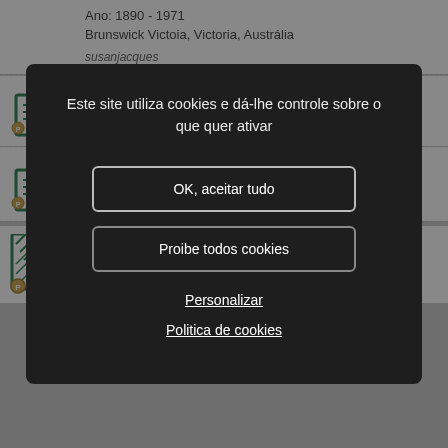Ano: 1890 - 1971
Brunswick Victoia, Victoria, Austrália
susanjacques
[Figure (screenshot): Genealogy website record icons for two records in background]
do
[Figure (screenshot): Cookie consent modal dialog with dark background. Contains text: Este site utiliza cookies e dá-lhe controle sobre o que quer ativar. Buttons: OK, aceitar tudo; Proibe todos cookies; links: Personalizar; Politica de cookies]
FREER Mary Jane
Ano: entre 1850 e 1900